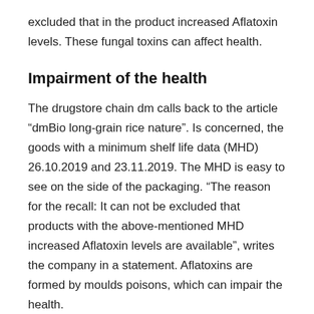excluded that in the product increased Aflatoxin levels. These fungal toxins can affect health.
Impairment of the health
The drugstore chain dm calls back to the article “dmBio long-grain rice nature”. Is concerned, the goods with a minimum shelf life data (MHD) 26.10.2019 and 23.11.2019. The MHD is easy to see on the side of the packaging. “The reason for the recall: It can not be excluded that products with the above-mentioned MHD increased Aflatoxin levels are available”, writes the company in a statement. Aflatoxins are formed by moulds poisons, which can impair the health.